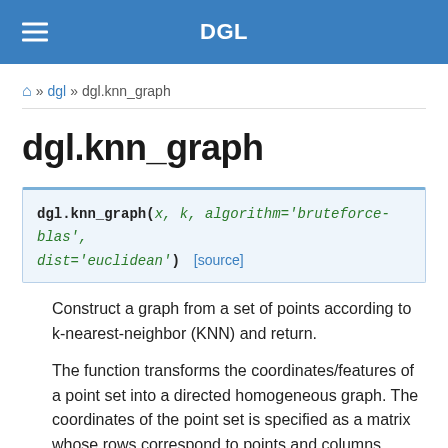DGL
» dgl » dgl.knn_graph
dgl.knn_graph
dgl.knn_graph(x, k, algorithm='bruteforce-blas', dist='euclidean')   [source]
Construct a graph from a set of points according to k-nearest-neighbor (KNN) and return.
The function transforms the coordinates/features of a point set into a directed homogeneous graph. The coordinates of the point set is specified as a matrix whose rows correspond to points and columns correspond to coordinates/features of the